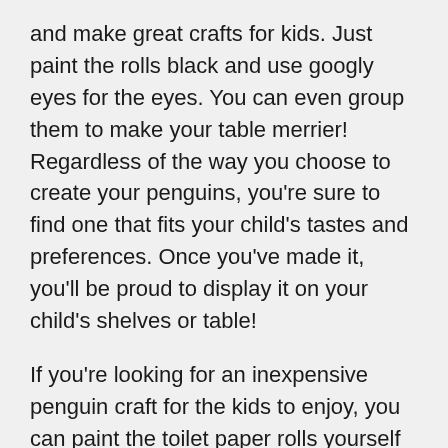and make great crafts for kids. Just paint the rolls black and use googly eyes for the eyes. You can even group them to make your table merrier! Regardless of the way you choose to create your penguins, you're sure to find one that fits your child's tastes and preferences. Once you've made it, you'll be proud to display it on your child's shelves or table!
If you're looking for an inexpensive penguin craft for the kids to enjoy, you can paint the toilet paper rolls yourself and save a lot of money. A salt dough recipe is great for creating penguin-themed gifts for children. You can also buy plastic toys to make your penguin pets. Make sure you buy one that is sturdy and durable for indoor use. And as long